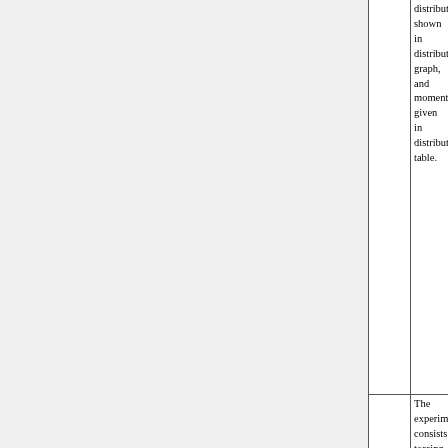distribution shown in distribution graph, and moments given in distribution table.
The experiment consists tossing n coins. The position of random walk after j tosses is the number of heads minus number of tails. The random variables interest are final posit...